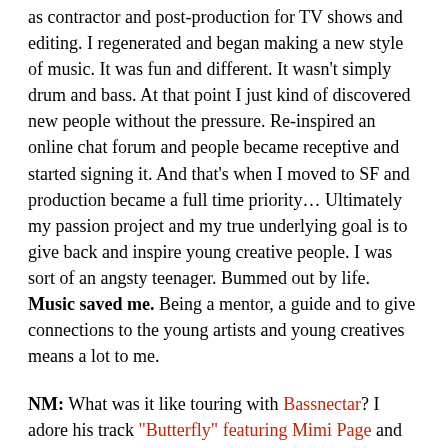as contractor and post-production for TV shows and editing. I regenerated and began making a new style of music. It was fun and different. It wasn't simply drum and bass. At that point I just kind of discovered new people without the pressure. Re-inspired an online chat forum and people became receptive and started signing it. And that's when I moved to SF and production became a full time priority… Ultimately my passion project and my true underlying goal is to give back and inspire young creative people. I was sort of an angsty teenager. Bummed out by life. Music saved me. Being a mentor, a guide and to give connections to the young artists and young creatives means a lot to me.
NM: What was it like touring with Bassnectar? I adore his track "Butterfly" featuring Mimi Page and listen to it all the time.
ill-ēsha: Touring with Bassnectar was pretty magical. I